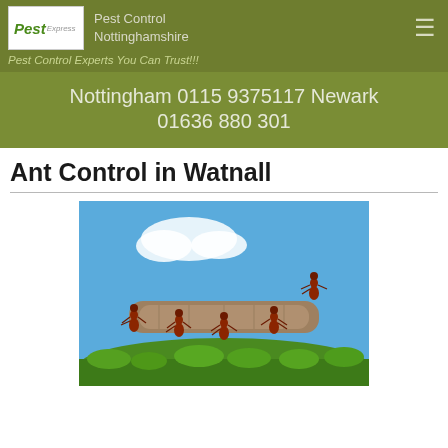Pest Control Nottinghamshire — Pest Control Experts You Can Trust!!!
Nottingham 0115 9375117 Newark 01636 880 301
Ant Control in Watnall
[Figure (photo): Macro photo of red ants cooperating to carry a large log across green moss against a blue sky with a white cloud]